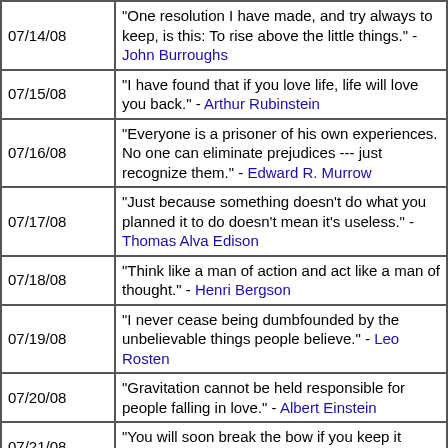| Date | Quote |
| --- | --- |
| 07/14/08 | "One resolution I have made, and try always to keep, is this: To rise above the little things." - John Burroughs |
| 07/15/08 | "I have found that if you love life, life will love you back." - Arthur Rubinstein |
| 07/16/08 | "Everyone is a prisoner of his own experiences. No one can eliminate prejudices --- just recognize them." - Edward R. Murrow |
| 07/17/08 | "Just because something doesn't do what you planned it to do doesn't mean it's useless." - Thomas Alva Edison |
| 07/18/08 | "Think like a man of action and act like a man of thought." - Henri Bergson |
| 07/19/08 | "I never cease being dumbfounded by the unbelievable things people believe." - Leo Rosten |
| 07/20/08 | "Gravitation cannot be held responsible for people falling in love." - Albert Einstein |
| 07/21/08 | "You will soon break the bow if you keep it always stretched." - Phaedrus |
| 07/22/08 | "For every minute you are angry you lose sixty seconds of happiness." - Ralph Waldo Emerson |
| 07/23/08 | "[the beginning of next quote — cut off] |